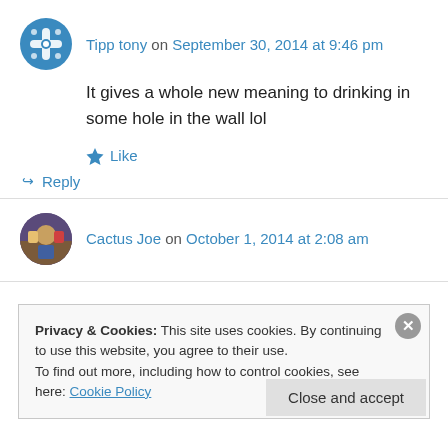Tipp tony on September 30, 2014 at 9:46 pm
It gives a whole new meaning to drinking in some hole in the wall lol
Like
Reply
Cactus Joe on October 1, 2014 at 2:08 am
Privacy & Cookies: This site uses cookies. By continuing to use this website, you agree to their use. To find out more, including how to control cookies, see here: Cookie Policy
Close and accept